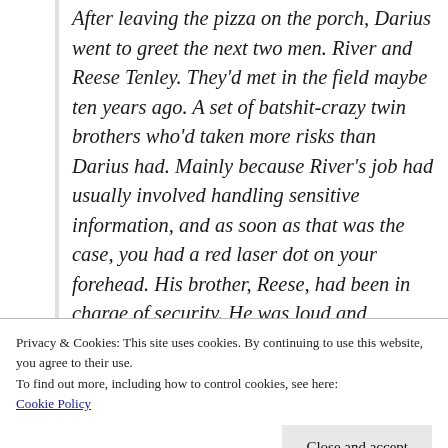After leaving the pizza on the porch, Darius went to greet the next two men. River and Reese Tenley. They'd met in the field maybe ten years ago. A set of batshit-crazy twin brothers who'd taken more risks than Darius had. Mainly because River's job had usually involved handling sensitive information, and as soon as that was the case, you had a red laser dot on your forehead. His brother, Reese, had been in charge of security. He was loud and outgoing where River was quiet and observant.
Privacy & Cookies: This site uses cookies. By continuing to use this website, you agree to their use.
To find out more, including how to control cookies, see here:
Cookie Policy
Close and accept
“I love you too, sunshine,” Ryan hollered